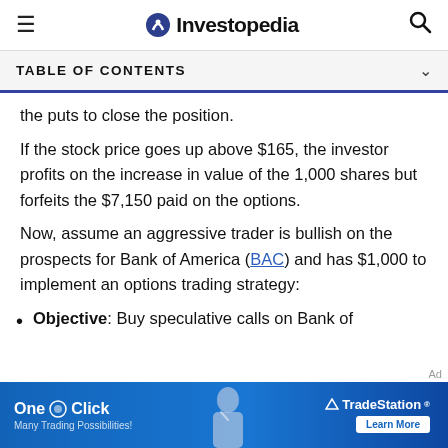Investopedia
TABLE OF CONTENTS
the puts to close the position.
If the stock price goes up above $165, the investor profits on the increase in value of the 1,000 shares but forfeits the $7,150 paid on the options.
Now, assume an aggressive trader is bullish on the prospects for Bank of America (BAC) and has $1,000 to implement an options trading strategy:
Objective: Buy speculative calls on Bank of
[Figure (other): Advertisement banner for TradeStation: 'One Click Many Trading Possibilities! Learn More']